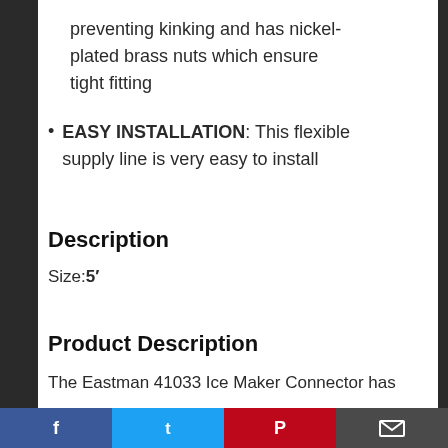preventing kinking and has nickel-plated brass nuts which ensure tight fitting
EASY INSTALLATION: This flexible supply line is very easy to install
Description
Size:5′
Product Description
The Eastman 41033 Ice Maker Connector has